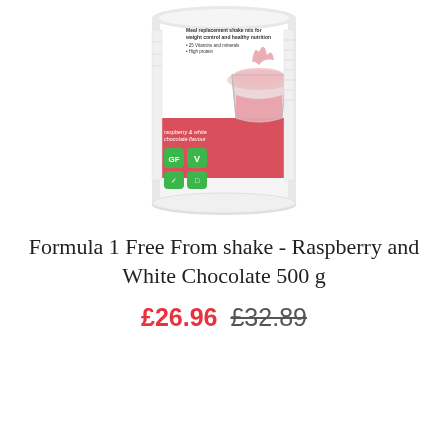[Figure (photo): A cylindrical tub of Herbalife Formula 1 Free From meal replacement shake mix, Raspberry and White Chocolate flavour, 500g. The label shows a pink smoothie splashing into a glass, with GF (Gluten Free) and V (Vegan) green badges, and text reading 'Meal replacement shake mix for weight control and healthy nutrition', '25 Vitamins and minerals', 'High protein'.]
Formula 1 Free From shake - Raspberry and White Chocolate 500 g
£26.96  £32.89